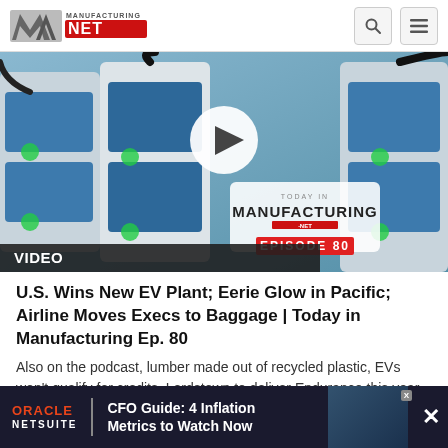Manufacturing.net
[Figure (screenshot): Video thumbnail showing EV charging stations with 'Today in Manufacturing Episode 80' overlay and a play button. VIDEO label at bottom left.]
U.S. Wins New EV Plant; Eerie Glow in Pacific; Airline Moves Execs to Baggage | Today in Manufacturing Ep. 80
Also on the podcast, lumber made out of recycled plastic, EVs won't qualify for credits, Lordstown to deliver Endurance this year, bioplastics market ramps...
August
[Figure (screenshot): Oracle NetSuite advertisement banner: 'CFO Guide: 4 Inflation Metrics to Watch Now' with close button.]